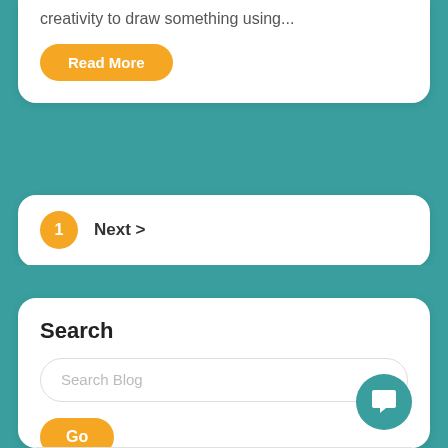creativity to draw something using...
Read More
1
Next >
Search
Search Blog
Go
[Figure (illustration): Teal circular chat/message icon button in bottom right corner]